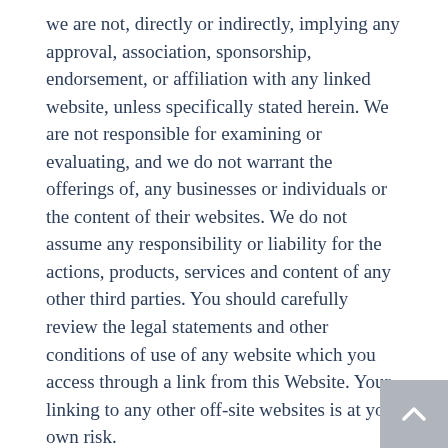we are not, directly or indirectly, implying any approval, association, sponsorship, endorsement, or affiliation with any linked website, unless specifically stated herein. We are not responsible for examining or evaluating, and we do not warrant the offerings of, any businesses or individuals or the content of their websites. We do not assume any responsibility or liability for the actions, products, services and content of any other third parties. You should carefully review the legal statements and other conditions of use of any website which you access through a link from this Website. Your linking to any other off-site websites is at your own risk.
ADVERTISEMENTS
During use of the Website, you may enter into correspondence with or participate in promotions of